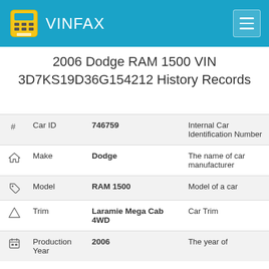VINFAX
2006 Dodge RAM 1500 VIN 3D7KS19D36G154212 History Records
| # | Field | Value | Description |
| --- | --- | --- | --- |
| # | Car ID | 746759 | Internal Car Identification Number |
| (home icon) | Make | Dodge | The name of car manufacturer |
| (tag icon) | Model | RAM 1500 | Model of a car |
| (triangle icon) | Trim | Laramie Mega Cab 4WD | Car Trim |
| (calendar icon) | Production Year | 2006 | The year of production |